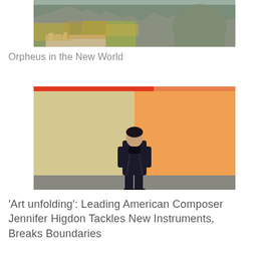[Figure (photo): Landscape photograph of dramatic rocky cliffs and mountains with autumn foliage and a small town visible at the base, likely Meteora, Greece.]
Orpheus in the New World
[Figure (photo): Portrait photograph of a person standing against a two-tone wall (beige/tan on left, bright orange on right) with a red accent stripe across the top, wearing dark clothing with hands in pockets.]
'Art unfolding': Leading American Composer Jennifer Higdon Tackles New Instruments, Breaks Boundaries